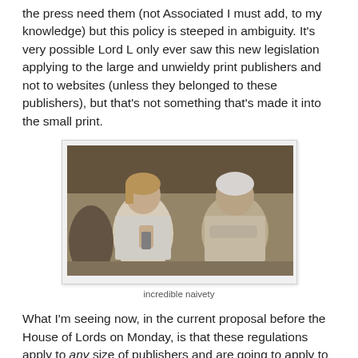the press need them (not Associated I must add, to my knowledge) but this policy is steeped in ambiguity. It's very possible Lord L only ever saw this new legislation applying to the large and unwieldy print publishers and not to websites (unless they belonged to these publishers), but that's not something that's made it into the small print.
[Figure (photo): Two people seated indoors in what appears to be a film still — a younger person with blonde hair examining an object, and an older white-haired person sitting across from them.]
incredible naivety
What I'm seeing now, in the current proposal before the House of Lords on Monday, is that these regulations apply to any size of publishers and are going to apply to all UK